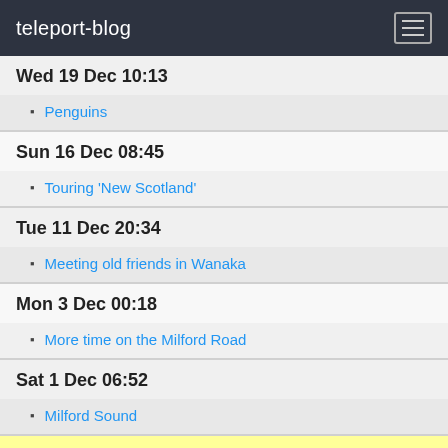teleport-blog
Wed 19 Dec 10:13
Penguins
Sun 16 Dec 08:45
Touring 'New Scotland'
Tue 11 Dec 20:34
Meeting old friends in Wanaka
Mon 3 Dec 00:18
More time on the Milford Road
Sat 1 Dec 06:52
Milford Sound
Nov 2018
Thu 29 Nov 10:00
Butter boxes to lakes
Tue 27 Nov 08:21
Glacier country